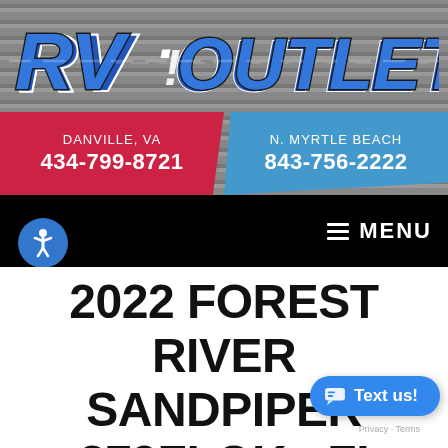[Figure (logo): RV Outlet USA logo in bold italic blue and white lettering with road markings, on a grey striped background]
DANVILLE, VA
434-799-8721
N. MYRTLE BEACH
843-756-2222
≡ MENU
2022 FOREST RIVER SANDPIPER 379FLOK - FIFTH WHEEL